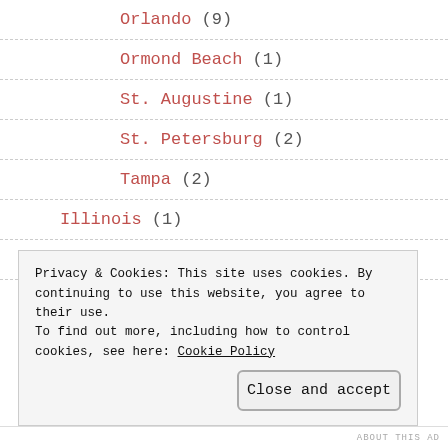Orlando (9)
Ormond Beach (1)
St. Augustine (1)
St. Petersburg (2)
Tampa (2)
Illinois (1)
Los Angeles (2)
(partially visible, truncated)
Privacy & Cookies: This site uses cookies. By continuing to use this website, you agree to their use.
To find out more, including how to control cookies, see here: Cookie Policy
Close and accept
ABOUT THIS AD